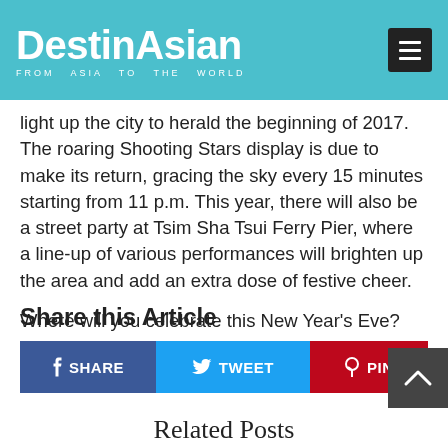DestinAsian — FROM ASIA TO THE WORLD
light up the city to herald the beginning of 2017. The roaring Shooting Stars display is due to make its return, gracing the sky every 15 minutes starting from 11 p.m. This year, there will also be a street party at Tsim Sha Tsui Ferry Pier, where a line-up of various performances will brighten up the area and add an extra dose of festive cheer.
Where will you celebrate this New Year's Eve?
Share this Article
f SHARE   TWEET   PIN
Related Posts